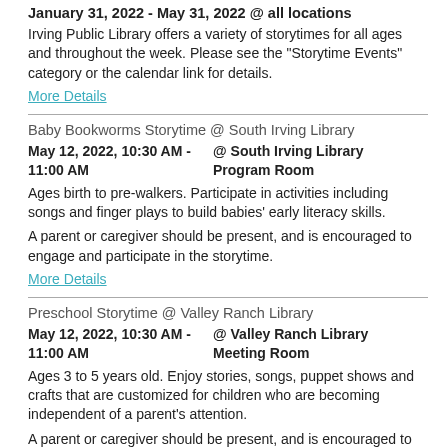January 31, 2022 - May 31, 2022 @ all locations
Irving Public Library offers a variety of storytimes for all ages and throughout the week. Please see the "Storytime Events" category or the calendar link for details.
More Details
Baby Bookworms Storytime @ South Irving Library
May 12, 2022, 10:30 AM - 11:00 AM  @ South Irving Library Program Room
Ages birth to pre-walkers. Participate in activities including songs and finger plays to build babies' early literacy skills.
A parent or caregiver should be present, and is encouraged to engage and participate in the storytime.
More Details
Preschool Storytime @ Valley Ranch Library
May 12, 2022, 10:30 AM - 11:00 AM  @ Valley Ranch Library Meeting Room
Ages 3 to 5 years old. Enjoy stories, songs, puppet shows and crafts that are customized for children who are becoming independent of a parent's attention.
A parent or caregiver should be present, and is encouraged to engage and participate in the storytime.
More Details
Family Storytime @ West Irving Library (Thursdays)